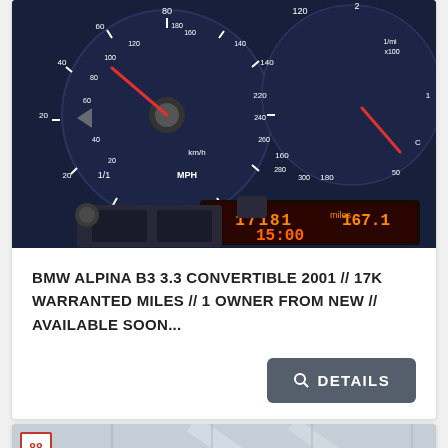[Figure (photo): Close-up photograph of a BMW Alpina B3 3.3 dashboard showing speedometer (km/h and MPH scales), tachometer, and digital odometer display reading 0 17181 miles 167.1 and time 15:00 in orange/amber illumination]
BMW ALPINA B3 3.3 CONVERTIBLE 2001 // 17K WARRANTED MILES // 1 OWNER FROM NEW // AVAILABLE SOON...
DETAILS
[Figure (photo): Partial view of a garage interior with ceiling lights and structural beams, showing badge number 88]